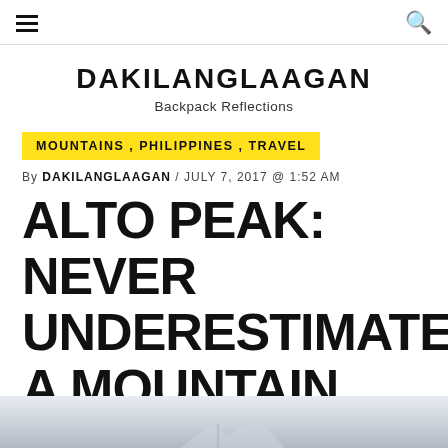≡  🔍
DAKILANGLAAGAN
Backpack Reflections
MOUNTAINS , PHILIPPINES , TRAVEL
By DAKILANGLAAGAN / JULY 7, 2017 @ 1:52 AM
ALTO PEAK: NEVER UNDERESTIMATE A MOUNTAIN
[Figure (photo): Partial view of a misty mountain landscape at the bottom of the page]